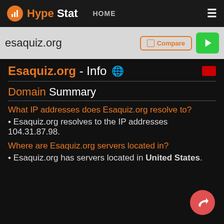HypeStat HOME
esaquiz.org
Esaquiz.org - Info
Domain Summary
What IP addresses does Esaquiz.org resolve to?
Esaquiz.org resolves to the IP addresses 104.31.87.98.
Where are Esaquiz.org servers located in?
Esaquiz.org has servers located in United States.